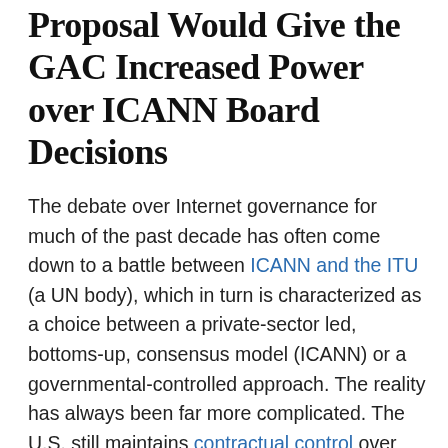Proposal Would Give the GAC Increased Power over ICANN Board Decisions
The debate over Internet governance for much of the past decade has often come down to a battle between ICANN and the ITU (a UN body), which in turn is characterized as a choice between a private-sector led, bottoms-up, consensus model (ICANN) or a governmental-controlled approach. The reality has always been far more complicated. The U.S. still maintains contractual control over ICANN, while all governments exert considerable power within the ICANN model through the Governmental Advisory Committee (GAC).
While the GAC claims its role is merely to provide “advice” to ICANN, it often seems to take the view that its suggestions can’t be refused. Indeed, late on Friday, ICANN proposed a [text continues]